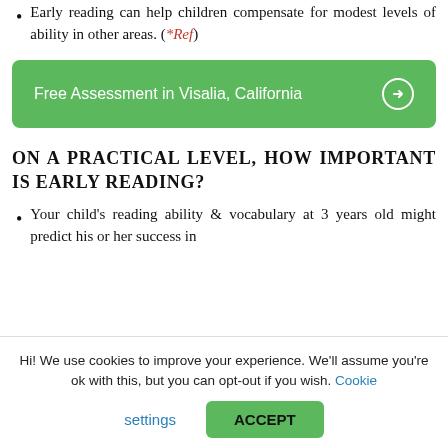Early reading can help children compensate for modest levels of ability in other areas. (*Ref)
[Figure (other): Green call-to-action button: 'Free Assessment in Visalia, California' with a circled right-arrow icon]
ON A PRACTICAL LEVEL, HOW IMPORTANT IS EARLY READING?
Your child's reading ability & vocabulary at 3 years old might predict his or her success in
Hi! We use cookies to improve your experience. We'll assume you're ok with this, but you can opt-out if you wish. Cookie settings ACCEPT